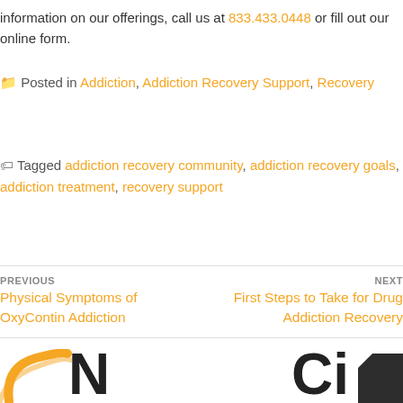information on our offerings, call us at 833.433.0448 or fill out our online form.
Posted in Addiction, Addiction Recovery Support, Recovery
Tagged addiction recovery community, addiction recovery goals, addiction treatment, recovery support
PREVIOUS Physical Symptoms of OxyContin Addiction
NEXT First Steps to Take for Drug Addiction Recovery
[Figure (logo): Partial logo with orange swoosh and large letters N and Ci, plus dark square with folded corner]